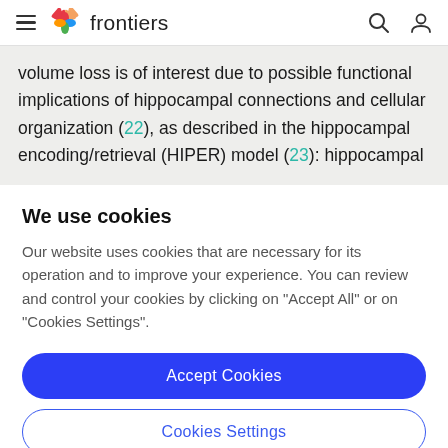frontiers
volume loss is of interest due to possible functional implications of hippocampal connections and cellular organization (22), as described in the hippocampal encoding/retrieval (HIPER) model (23): hippocampal
We use cookies
Our website uses cookies that are necessary for its operation and to improve your experience. You can review and control your cookies by clicking on "Accept All" or on "Cookies Settings".
Accept Cookies
Cookies Settings